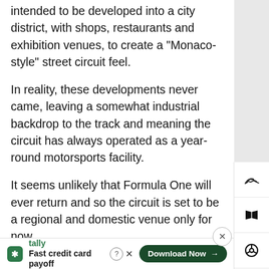intended to be developed into a city district, with shops, restaurants and exhibition venues, to create a "Monaco-style" street circuit feel.
In reality, these developments never came, leaving a somewhat industrial backdrop to the track and meaning the circuit has always operated as a year-round motorsports facility.
It seems unlikely that Formula One will ever return and so the circuit is set to be a regional and domestic venue only for now.
Active
Permanent
Road Course
[Figure (screenshot): Tally app advertisement banner: logo, brand name, slogan 'Fast credit card payoff', Download Now button, help and close icons]
[Figure (screenshot): Side navigation bar with icons: racing car (top), open book, steering wheel, map/location pin]